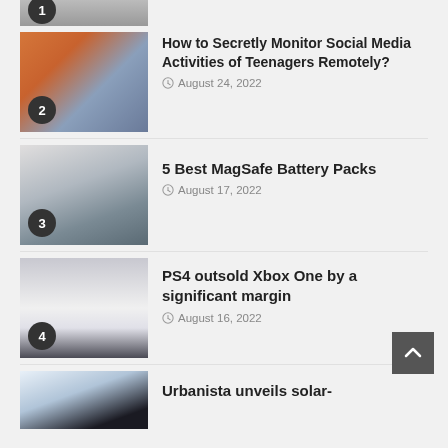[Figure (photo): Partial cropped thumbnail showing item #1, mostly cut off at top]
[Figure (photo): Tablet showing social media, numbered badge 2]
How to Secretly Monitor Social Media Activities of Teenagers Remotely?
August 24, 2022
[Figure (photo): Hand holding MagSafe battery pack, numbered badge 3]
5 Best MagSafe Battery Packs
August 17, 2022
[Figure (photo): Xbox One console, numbered badge 4]
PS4 outsold Xbox One by a significant margin
August 16, 2022
[Figure (photo): Earbuds/headphones, partial view at bottom]
Urbanista unveils solar-